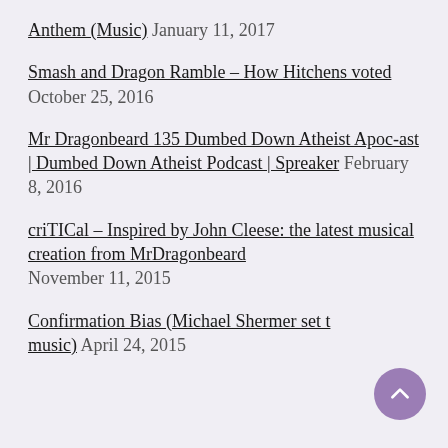Anthem (Music) January 11, 2017
Smash and Dragon Ramble – How Hitchens voted October 25, 2016
Mr Dragonbeard 135 Dumbed Down Atheist Apoc-ast | Dumbed Down Atheist Podcast | Spreaker February 8, 2016
criTICal – Inspired by John Cleese: the latest musical creation from MrDragonbeard November 11, 2015
Confirmation Bias (Michael Shermer set the music) April 24, 2015